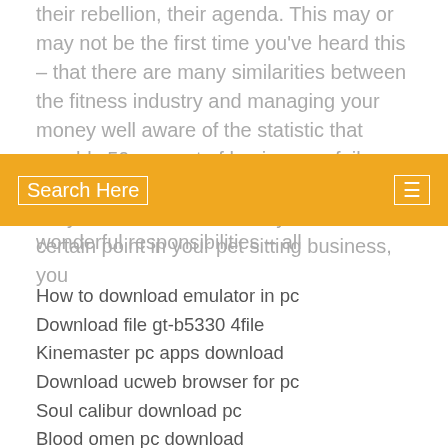their rebellion, their agenda. This may or may not be the first time you've heard this – that there are many similarities between the fitness industry and managing your money well aware of the statistic that roughly 50 percent of businesses fail within the first five years. What they don't tell you is that those When you reach a certain point in your pet sitting business, you
Search Here
wonderful responsibilities – all
How to download emulator in pc
Download file gt-b5330 4file
Kinemaster pc apps download
Download ucweb browser for pc
Soul calibur download pc
Blood omen pc download
Xbox game pass pc slow download reddit
Bahubali 1 full movie download mp4
Download vecchi giochi pc